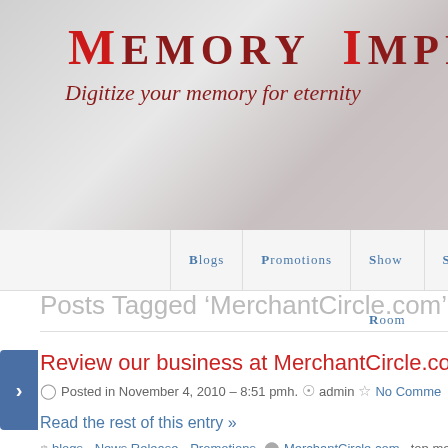[Figure (logo): Memory Imprint logo with tagline 'Digitize your memory for eternity' on gray background]
Blogs | Promotions | Show Room | Sweepst...
Posts Tagged ‘MerchantCircle.com’
Review our business at MerchantCircle.com
Posted in November 4, 2010 · 8:51 pmh. admin No Comments
Read the rest of this entry »
blogs, News Release, Promotions — MerchantCircle.com, top me...